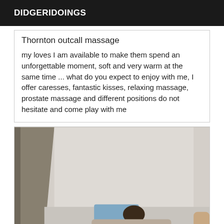DIDGERIDOINGS
Thornton outcall massage
my loves I am available to make them spend an unforgettable moment, soft and very warm at the same time ... what do you expect to enjoy with me, I offer caresses, fantastic kisses, relaxing massage, prostate massage and different positions do not hesitate and come play with me
[Figure (photo): Interior room photo showing a person lying on a bed with a blue pillow, with light-colored walls visible in the background.]